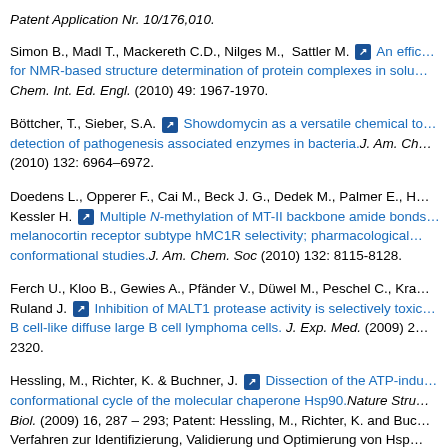Patent Application Nr. 10/176,010.
Simon B., Madl T., Mackereth C.D., Nilges M., Sattler M. An efficient method for NMR-based structure determination of protein complexes in solution. Angew. Chem. Int. Ed. Engl. (2010) 49: 1967-1970.
Böttcher, T., Sieber, S.A. Showdomycin as a versatile chemical tool for the detection of pathogenesis associated enzymes in bacteria. J. Am. Chem. Soc. (2010) 132: 6964–6972.
Doedens L., Opperer F., Cai M., Beck J. G., Dedek M., Palmer E., Hruby V.J., Kessler H. Multiple N-methylation of MT-II backbone amide bonds leads to melanocortin receptor subtype hMC1R selectivity; pharmacological and conformational studies. J. Am. Chem. Soc (2010) 132: 8115-8128.
Ferch U., Kloo B., Gewies A., Pfänder V., Düwel M., Peschel C., Krappmann D., Ruland J. Inhibition of MALT1 protease activity is selectively toxic for activated B cell-like diffuse large B cell lymphoma cells. J. Exp. Med. (2009) 206: 2313-2320.
Hessling, M., Richter, K. & Buchner, J. Dissection of the ATP-induced conformational cycle of the molecular chaperone Hsp90. Nature Struct. Mol. Biol. (2009) 16, 287 – 293; Patent: Hessling, M., Richter, K. and Buchner, J. Verfahren zur Identifizierung, Validierung und Optimierung von Hsp90-Modulatoren.